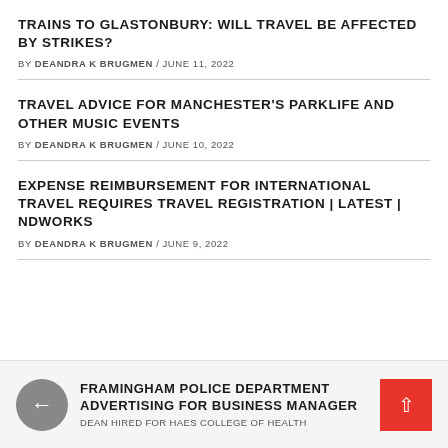TRAINS TO GLASTONBURY: WILL TRAVEL BE AFFECTED BY STRIKES?
BY DEANDRA K BRUGMEN / JUNE 11, 2022
TRAVEL ADVICE FOR MANCHESTER'S PARKLIFE AND OTHER MUSIC EVENTS
BY DEANDRA K BRUGMEN / JUNE 10, 2022
EXPENSE REIMBURSEMENT FOR INTERNATIONAL TRAVEL REQUIRES TRAVEL REGISTRATION | LATEST | NDWORKS
BY DEANDRA K BRUGMEN / JUNE 9, 2022
FRAMINGHAM POLICE DEPARTMENT ADVERTISING FOR BUSINESS MANAGER
DEAN HIRED FOR HAES COLLEGE OF HEALTH